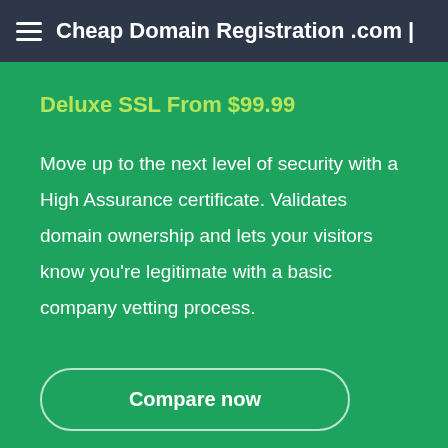Cheap Domain Registration .com |
Deluxe SSL From $99.99
Move up to the next level of security with a High Assurance certificate. Validates domain ownership and lets your visitors know you're legitimate with a basic company vetting process.
Compare now